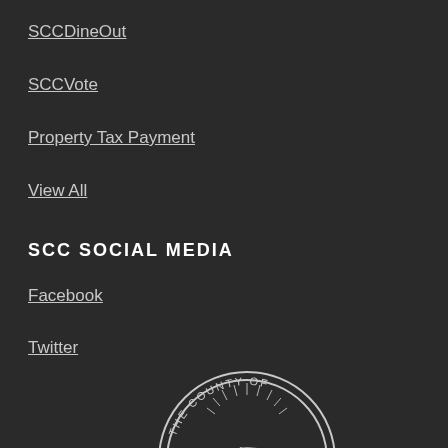SCCDineOut
SCCVote
Property Tax Payment
View All
SCC SOCIAL MEDIA
Facebook
Twitter
[Figure (logo): The County of Santa Clara seal, circular logo with an aqueduct bridge, sunburst, stars, and text reading 'THE COUNTY OF SANTA CLARA' and '1850']